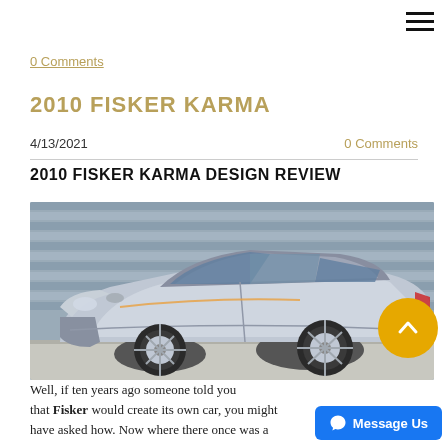☰ (hamburger menu icon)
0 Comments
2010 FISKER KARMA
4/13/2021   0 Comments
2010 FISKER KARMA DESIGN REVIEW
[Figure (photo): A silver/chrome Fisker Karma electric luxury sedan parked in front of metal shutters. The car is photographed from a front three-quarter angle showing its distinctive styling.]
Well, if ten years ago someone told you that Fisker would create its own car, you might have asked how. Now where there once was a